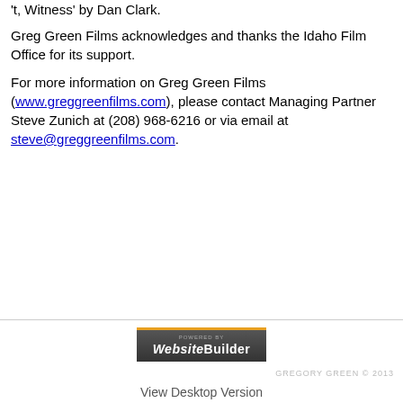t, Witness by Dan Clark.
Greg Green Films acknowledges and thanks the Idaho Film Office for its support.
For more information on Greg Green Films (www.greggreenfilms.com), please contact Managing Partner Steve Zunich at (208) 968-6216 or via email at steve@greggreenfilms.com.
[Figure (logo): Powered by WebsiteBuilder badge — dark grey rectangle with orange top border, small text 'POWERED BY' and large bold text 'WebsiteBuilder']
GREGORY GREEN © 2013
View Desktop Version